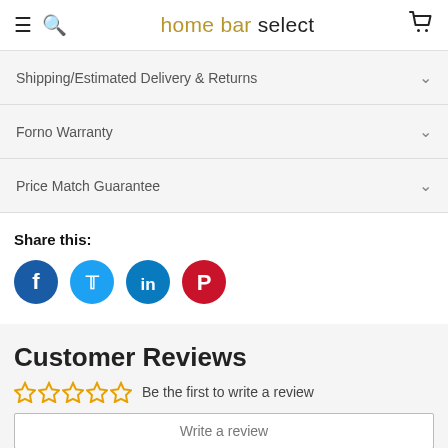home bar select
Shipping/Estimated Delivery & Returns
Forno Warranty
Price Match Guarantee
Share this:
[Figure (infographic): Social share icons: Facebook (blue circle), Twitter (light blue circle), LinkedIn (blue circle), Pinterest (red circle)]
Customer Reviews
Be the first to write a review
Write a review